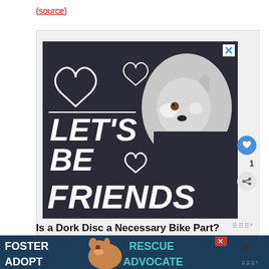(source)
[Figure (advertisement): Dark-themed pet adoption ad showing a husky dog with white hearts and large white bold text reading 'LET'S BE FRIENDS' with a close X button in the top right corner]
1
Is a Dork Disc a Necessary Bike Part?
Whether a bike dork disc is necessary or not is a
[Figure (advertisement): Bottom banner ad with dark blue background showing a beagle dog with text FOSTER ADOPT RESCUE ADVOCATE in large white and teal letters]